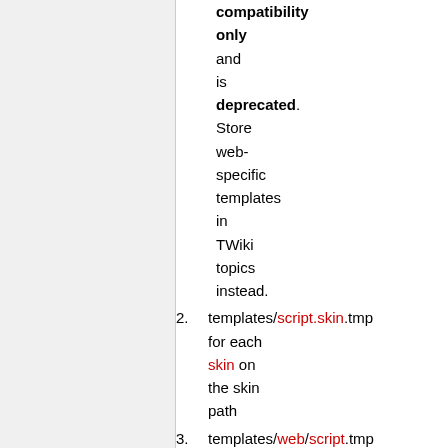compatibility only and is deprecated. Store web-specific templates in TWiki topics instead.
templates/script.skin.tmp for each skin on the skin path
templates/web/script.tmp
⚠ this usage is